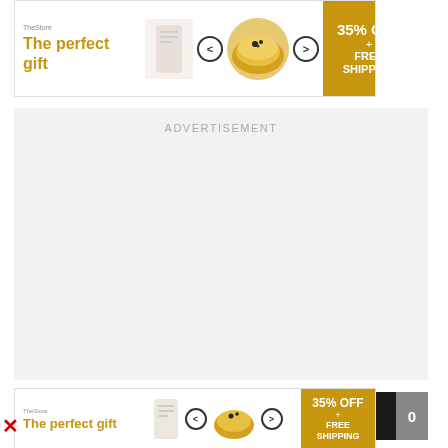[Figure (screenshot): Top banner advertisement for 'The perfect gift' showing product images, navigation arrows, and '35% OFF + FREE SHIPPING' in gold box]
ADVERTISEMENT
[Figure (screenshot): MLB sports content strip with dark background, red MLB badge with gold baseball icon and white MLB text, score panel on right showing 0]
[Figure (screenshot): Bottom banner advertisement identical to top: 'The perfect gift' with product images, navigation arrows, and '35% OFF + FREE SHIPPING']